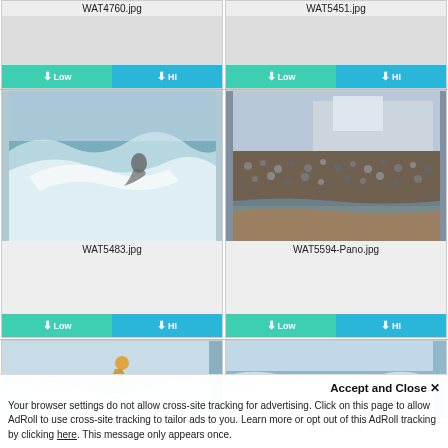[Figure (screenshot): Photo gallery grid showing surfing and beach crowd images with download buttons. Row 1 (partial): WAT4760.jpg and WAT5451.jpg with Low/HI download buttons. Row 2: WAT5483.jpg (surfer in wave) and WAT5594-Pano.jpg (beach crowd) with Low/HI buttons. Row 3 (partial): WAT5553.jpg (surfer aerial) and WAT5475.jpg (wave) partially visible.]
Accept and Close ✕
Your browser settings do not allow cross-site tracking for advertising. Click on this page to allow AdRoll to use cross-site tracking to tailor ads to you. Learn more or opt out of this AdRoll tracking by clicking here. This message only appears once.